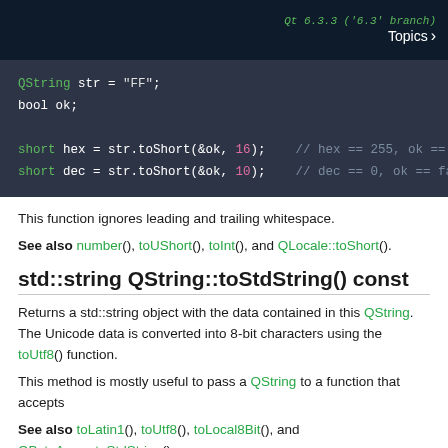Qt 6.3.3 ('6.3' branch)  Topics >
[Figure (screenshot): Code block showing QString usage with toShort() function. Lines: 'QString str = "FF"; bool ok; short hex = str.toShort(&ok, 16); // hex == 255, ok == t  short dec = str.toShort(&ok, 10); // dec == 0, ok == fa']
This function ignores leading and trailing whitespace.
See also number(), toUShort(), toInt(), and QLocale::toShort().
std::string QString::toStdString() const
Returns a std::string object with the data contained in this QString. The Unicode data is converted into 8-bit characters using the toUtf8() function.
This method is mostly useful to pass a QString to a function that accepts
See also toLatin1(), toUtf8(), toLocal8Bit(), and QByteArray::toStdString().